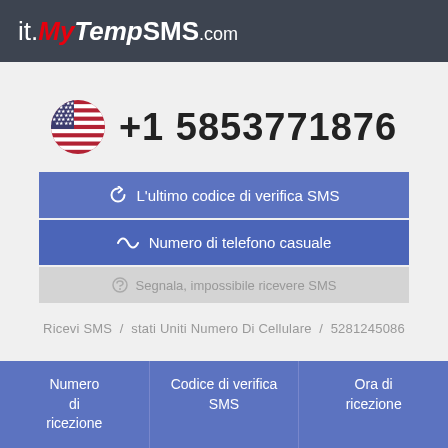it.MyTempSMS.com
+1 5853771876
L'ultimo codice di verifica SMS
Numero di telefono casuale
Segnala, impossibile ricevere SMS
Ricevi SMS / stati Uniti Numero Di Cellulare / 5281245086
| Numero di ricezione | Codice di verifica SMS | Ora di ricezione |
| --- | --- | --- |